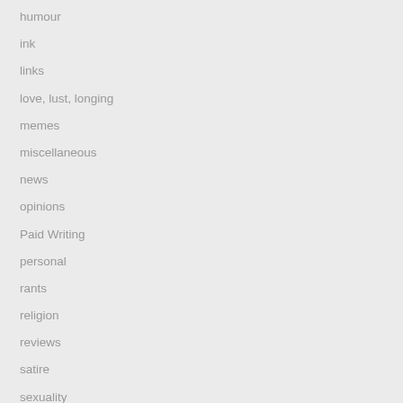humour
ink
links
love, lust, longing
memes
miscellaneous
news
opinions
Paid Writing
personal
rants
religion
reviews
satire
sexuality